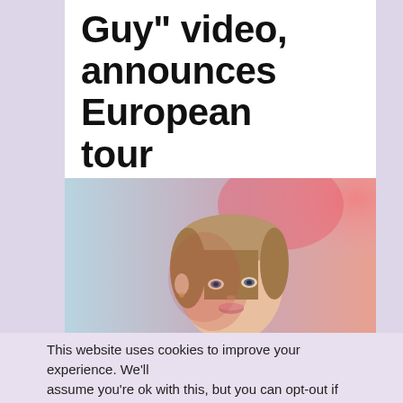Guy" video, announces European tour
[Figure (photo): Close-up portrait of a young woman with light brown hair, lit by pink/red light against a blurred colorful background]
This website uses cookies to improve your experience. We'll assume you're ok with this, but you can opt-out if you wish.
Read More   Cookie settings   ACCEPT